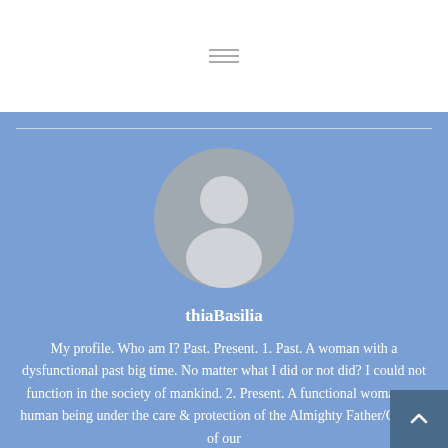[Figure (illustration): Hamburger menu icon with three horizontal lines in the white header area]
[Figure (illustration): Default user avatar silhouette (grey circle with white person icon) on blue background]
thiaBasilia
My profile. Who am I? Past. Present. 1. Past. A woman with a dysfunctional past big time. No matter what I did or not did? I could not function in the society of mankind. 2. Present. A functional woman—a human being under the care & protection of the Almighty Father/Creator of our